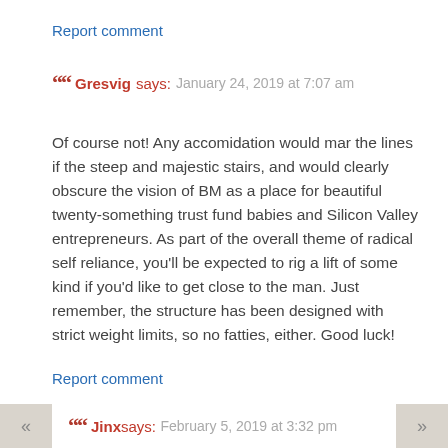Report comment
Gresvig says: January 24, 2019 at 7:07 am
Of course not! Any accomidation would mar the lines if the steep and majestic stairs, and would clearly obscure the vision of BM as a place for beautiful twenty-something trust fund babies and Silicon Valley entrepreneurs. As part of the overall theme of radical self reliance, you'll be expected to rig a lift of some kind if you'd like to get close to the man. Just remember, the structure has been designed with strict weight limits, so no fatties, either. Good luck!
Report comment
Jinx says: February 5, 2019 at 3:32 pm